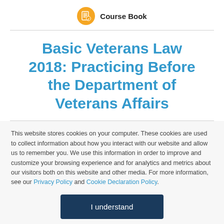Course Book
Basic Veterans Law 2018: Practicing Before the Department of Veterans Affairs
This website stores cookies on your computer. These cookies are used to collect information about how you interact with our website and allow us to remember you. We use this information in order to improve and customize your browsing experience and for analytics and metrics about our visitors both on this website and other media. For more information, see our Privacy Policy and Cookie Declaration Policy.
I understand